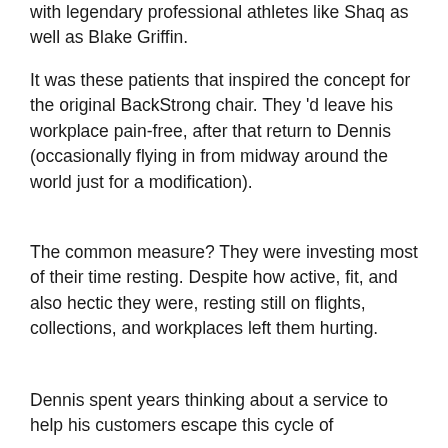with legendary professional athletes like Shaq as well as Blake Griffin.
It was these patients that inspired the concept for the original BackStrong chair. They 'd leave his workplace pain-free, after that return to Dennis (occasionally flying in from midway around the world just for a modification).
The common measure? They were investing most of their time resting. Despite how active, fit, and also hectic they were, resting still on flights, collections, and workplaces left them hurting.
Dennis spent years thinking about a service to help his customers escape this cycle of